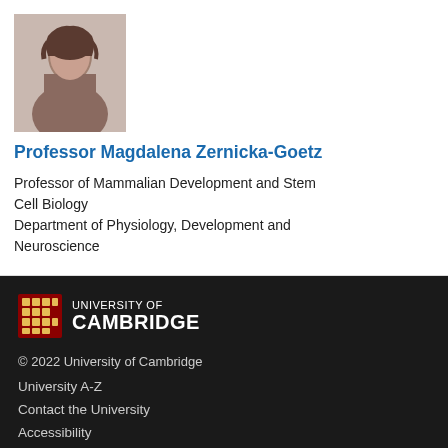[Figure (photo): Profile photo of Professor Magdalena Zernicka-Goetz, a woman with dark hair]
Professor Magdalena Zernicka-Goetz
Professor of Mammalian Development and Stem Cell Biology
Department of Physiology, Development and Neuroscience
[Figure (logo): University of Cambridge logo with shield and wordmark]
© 2022 University of Cambridge
University A-Z
Contact the University
Accessibility